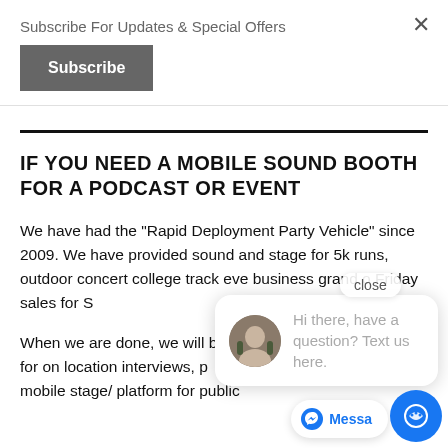Subscribe For Updates & Special Offers
Subscribe
IF YOU NEED A MOBILE SOUND BOOTH FOR A PODCAST OR EVENT
We have had the "Rapid Deployment Party Vehicle" since 2009. We have provided sound and stage for 5k runs, outdoor concerts, college track events, business grand openings, Black Friday sales for S...
Hi there, have a question? Text us here.
When we are done, we will be able to provide sound booth for on location interviews, podcast styled recordings, mobile stage/ platform for public